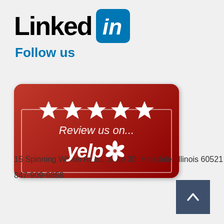[Figure (logo): LinkedIn logo with 'Linked' in black bold text and 'in' white text on blue rounded square icon, with 'Follow us' in blue bold text below]
[Figure (logo): Yelp 'Review us on...' badge with red rounded rectangle background, five white stars at top, bracket border, 'Review us on...' italic white text, and 'yelp' white italic bold text with red flower burst icon]
15 Spinning Wheel Road, Suite 30, Hinsdale, Illinois 60521
847-909-9858